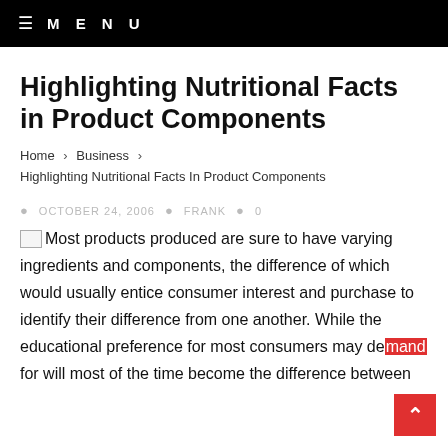≡  M E N U
Highlighting Nutritional Facts in Product Components
Home > Business > Highlighting Nutritional Facts In Product Components
OCTOBER 24, 2006  FRANK  0
Most products produced are sure to have varying ingredients and components, the difference of which would usually entice consumer interest and purchase to identify their difference from one another. While the educational preference for most consumers may demand for will most of the time become the difference between